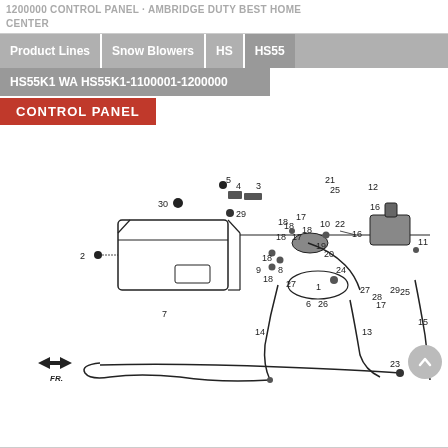1200000 CONTROL PANEL AMBRIDGE DUTY BEST HOME CENTER
Product Lines | Snow Blowers | HS | HS55
HS55K1 WA HS55K1-1100001-1200000
CONTROL PANEL
[Figure (engineering-diagram): Exploded parts diagram of the Honda HS55K1 snowblower control panel assembly. Numbered parts (1-30) are shown with leader lines pointing to individual components including control box housing (7), cables (13,14,15,23), levers (10,17,18,19,20,27), fasteners and small hardware. A FR. arrow indicator is shown at bottom left. A scroll-to-top button appears at bottom right.]